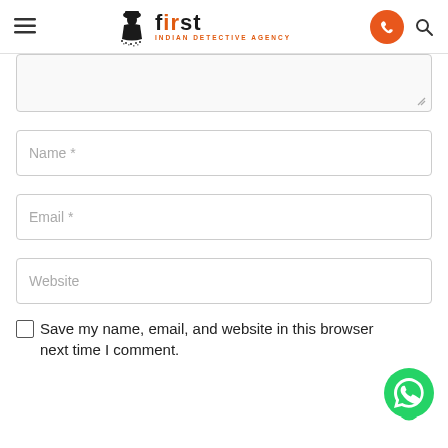[Figure (logo): First Indian Detective Agency logo with detective silhouette icon and orange phone button, hamburger menu, and search icon in header]
[Figure (screenshot): Partial textarea form field (comment box, top cut off) with resize handle]
Name *
Email *
Website
Save my name, email, and website in this browser next time I comment.
[Figure (illustration): WhatsApp green circular button with phone icon]